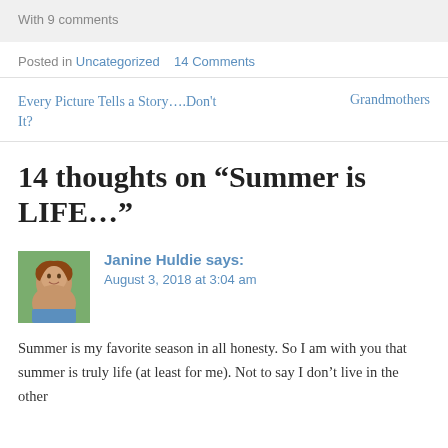With 9 comments
Posted in Uncategorized    14 Comments
Every Picture Tells a Story….Don't It?
Grandmothers
14 thoughts on “Summer is LIFE…”
Janine Huldie says:
August 3, 2018 at 3:04 am
[Figure (photo): Avatar photo of Janine Huldie, a woman with reddish-brown hair smiling, cropped headshot against a green outdoor background]
Summer is my favorite season in all honesty. So I am with you that summer is truly life (at least for me). Not to say I don’t live in the other